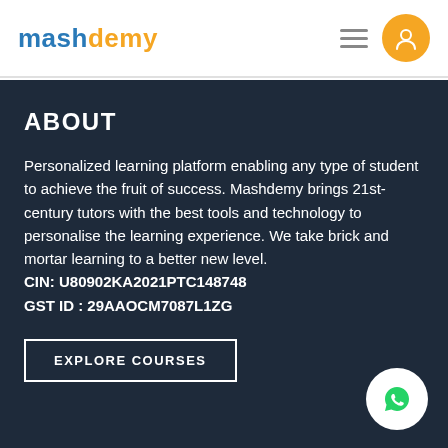mashdemy
ABOUT
Personalized learning platform enabling any type of student to achieve the fruit of success. Mashdemy brings 21st-century tutors with the best tools and technology to personalise the learning experience. We take brick and mortar learning to a better new level.
CIN: U80902KA2021PTC148748
GST ID : 29AAOCM7087L1ZG
EXPLORE COURSES